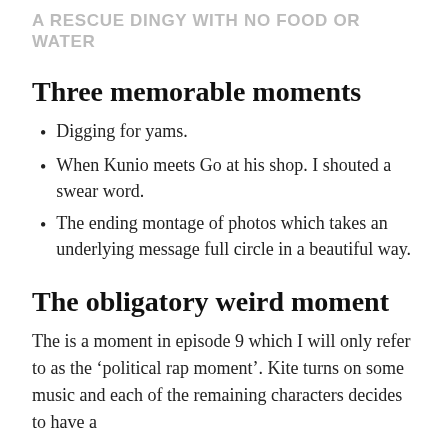A RESCUE DINGY WITH NO FOOD OR WATER
Three memorable moments
Digging for yams.
When Kunio meets Go at his shop. I shouted a swear word.
The ending montage of photos which takes an underlying message full circle in a beautiful way.
The obligatory weird moment
The is a moment in episode 9 which I will only refer to as the ‘political rap moment’. Kite turns on some music and each of the remaining characters decides to have a